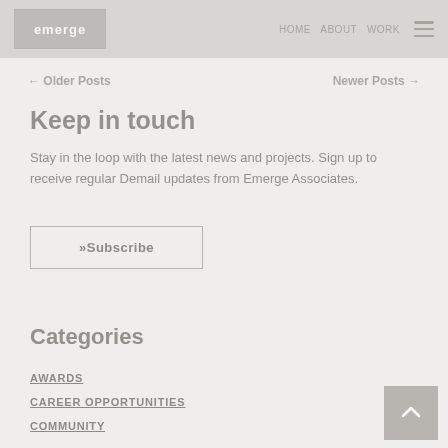emerge Associates logo and navigation
← Older Posts    Newer Posts →
Keep in touch
Stay in the loop with the latest news and projects. Sign up to receive regular Demail updates from Emerge Associates.
»Subscribe
Categories
AWARDS
CAREER OPPORTUNITIES
COMMUNITY